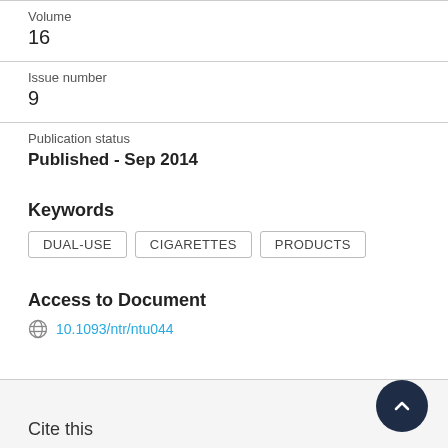Volume
16
Issue number
9
Publication status
Published - Sep 2014
Keywords
DUAL-USE
CIGARETTES
PRODUCTS
Access to Document
10.1093/ntr/ntu044
Cite this